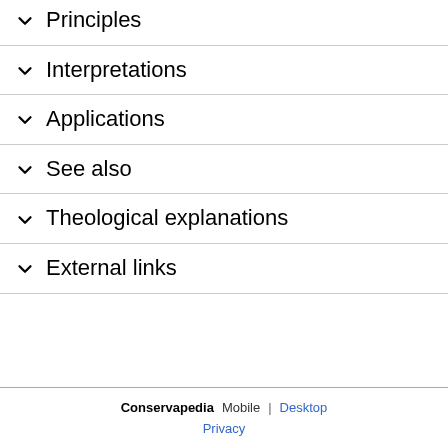Principles
Interpretations
Applications
See also
Theological explanations
External links
Conservapedia  Mobile  |  Desktop  Privacy